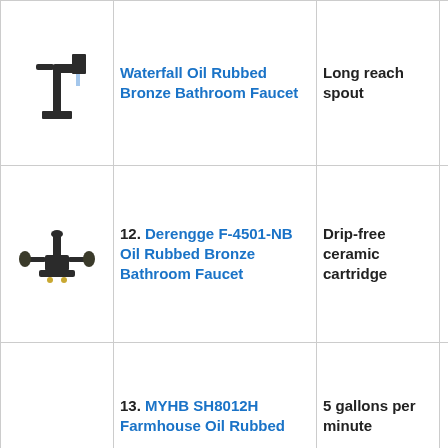| Image | Product Name | Feature | Rating |
| --- | --- | --- | --- |
| [faucet image] | Waterfall Oil Rubbed Bronze Bathroom Faucet | Long reach spout | 4.2 |
| [faucet image] | 12. Derengge F-4501-NB Oil Rubbed Bronze Bathroom Faucet | Drip-free ceramic cartridge | 4.1 |
| [faucet image] | 13. MYHB SH8012H Farmhouse Oil Rubbed | 5 gallons per minute | 4.0 |